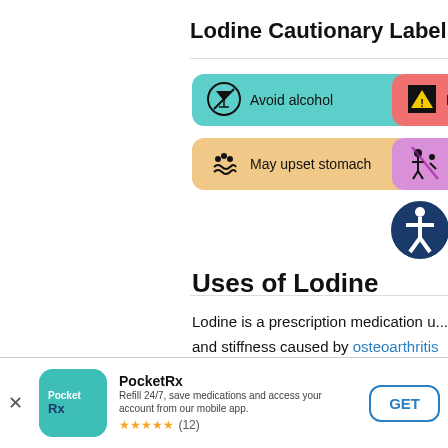Lodine Cautionary Label
[Figure (infographic): Teal pill badge: avoid alcohol icon with crossed martini glass, text 'Avoid alcohol']
[Figure (infographic): Red pill badge: black warning triangle icon, text 'Black...' (partially visible)]
[Figure (infographic): Peach/orange pill badge: stomach upset icon (dots above waves), text 'May upset stomach']
[Figure (infographic): Purple pill badge: not safe for women icon, text 'Not sa... wome...' (partially visible)]
[Figure (infographic): Dark blue circle accessibility icon (person in circle)]
Uses of Lodine
Lodine is a prescription medication u... and stiffness caused by osteoarthritis to relieve pain from other causes.
[Figure (logo): PocketRx app logo - teal rounded square with PocketRx text]
PocketRx
Refill 24/7, save medications and access your account from our mobile app.
★★★★★ (12)